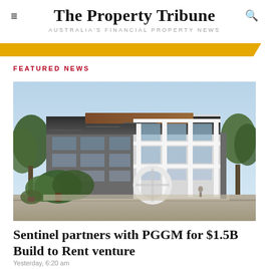The Property Tribune
AUSTRALIA'S FINANCIAL PROPERTY NEWS
FEATURED NEWS
[Figure (photo): Modern multi-storey residential apartment building with white facade, dark cladding on top floor, large balconies, floor-to-ceiling windows, surrounded by trees. A large circular sculptural ring is visible at ground level in the foreground. Clear blue sky in the background.]
Sentinel partners with PGGM for $1.5B Build to Rent venture
Yesterday, 6:20 am